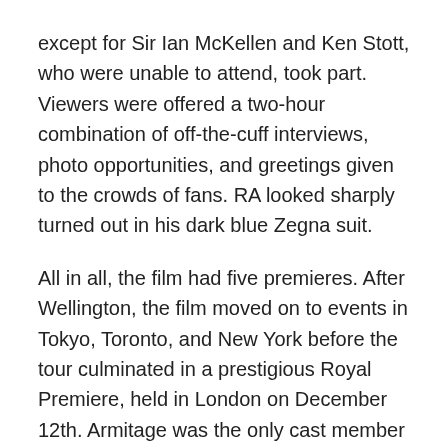except for Sir Ian McKellen and Ken Stott, who were unable to attend, took part. Viewers were offered a two-hour combination of off-the-cuff interviews, photo opportunities, and greetings given to the crowds of fans. RA looked sharply turned out in his dark blue Zegna suit.
All in all, the film had five premieres. After Wellington, the film moved on to events in Tokyo, Toronto, and New York before the tour culminated in a prestigious Royal Premiere, held in London on December 12th. Armitage was the only cast member to attend all five. In a whirlwind two-and-a-half weeks, then, RA undertook six plane journeys and an absolutely daunting schedule of interviews and public appearances. He would scarcely have had a moment to decompress or find a much-needed second or third wind.